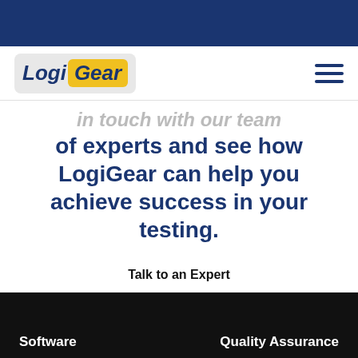[Figure (logo): LogiGear logo with 'Logi' in italic dark blue on light gray background and 'Gear' in italic dark blue on yellow rounded rectangle background]
in touch with our team of experts and see how LogiGear can help you achieve success in your testing.
Talk to an Expert
Software
Quality Assurance